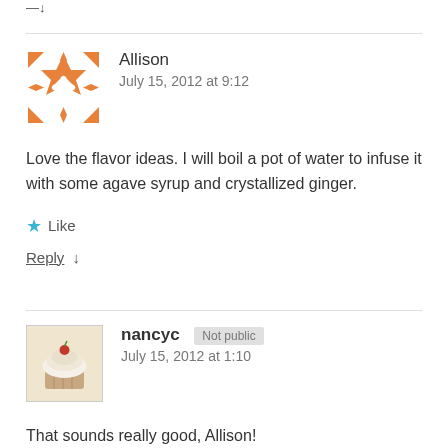—↓
Allison
July 15, 2012 at 9:12
Love the flavor ideas. I will boil a pot of water to infuse it with some agave syrup and crystallized ginger.
★ Like
Reply ↓
nancyc [Not public]
July 15, 2012 at 1:10
That sounds really good, Allison!